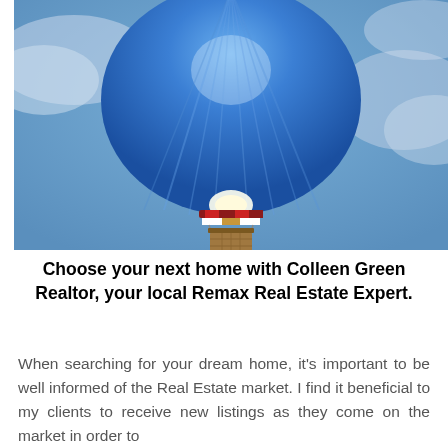[Figure (photo): A blue hot air balloon viewed from below against a cloudy blue sky, with the basket and burner visible at the bottom center of the balloon.]
Choose your next home with Colleen Green Realtor, your local Remax Real Estate Expert.
When searching for your dream home, it's important to be well informed of the Real Estate market. I find it beneficial to my clients to receive new listings as they come on the market in order to